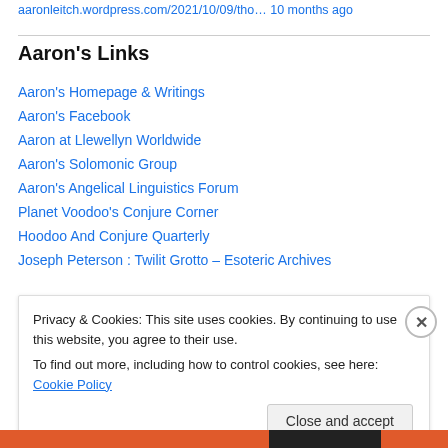aaronleitch.wordpress.com/2021/10/09/tho… 10 months ago
Aaron's Links
Aaron's Homepage & Writings
Aaron's Facebook
Aaron at Llewellyn Worldwide
Aaron's Solomonic Group
Aaron's Angelical Linguistics Forum
Planet Voodoo's Conjure Corner
Hoodoo And Conjure Quarterly
Joseph Peterson : Twilit Grotto – Esoteric Archives
Privacy & Cookies: This site uses cookies. By continuing to use this website, you agree to their use. To find out more, including how to control cookies, see here: Cookie Policy
Close and accept